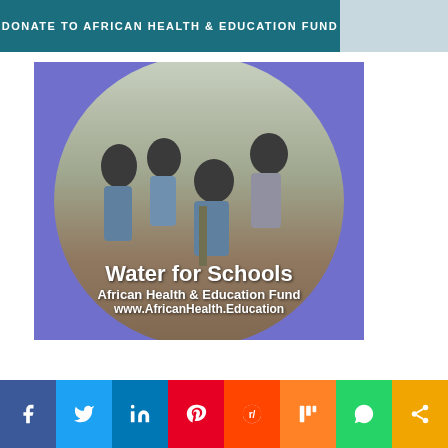DONATE TO AFRICAN HEALTH & EDUCATION FUND
[Figure (photo): Circular photo of African school children in uniforms using a water pump/tap outdoors. Text overlay reads: 'Water for Schools / African Health & Education Fund / www.AfricanHealth.Education'. Background outside circle is blue/purple.]
[Figure (infographic): Social media sharing bar with icons: Facebook (blue), Twitter (light blue), LinkedIn (dark blue), Pinterest (red), Reddit (orange-red), Mix (orange), WhatsApp (green), Share (gold/amber).]